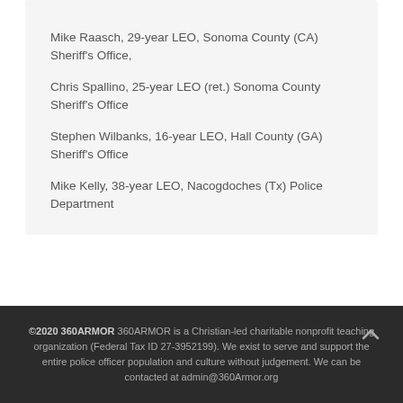Mike Raasch, 29-year LEO, Sonoma County (CA) Sheriff's Office,
Chris Spallino, 25-year LEO (ret.) Sonoma County Sheriff's Office
Stephen Wilbanks, 16-year LEO, Hall County (GA) Sheriff's Office
Mike Kelly, 38-year LEO, Nacogdoches (Tx) Police Department
©2020 360ARMOR 360ARMOR is a Christian-led charitable nonprofit teaching organization (Federal Tax ID 27-3952199). We exist to serve and support the entire police officer population and culture without judgement. We can be contacted at admin@360Armor.org